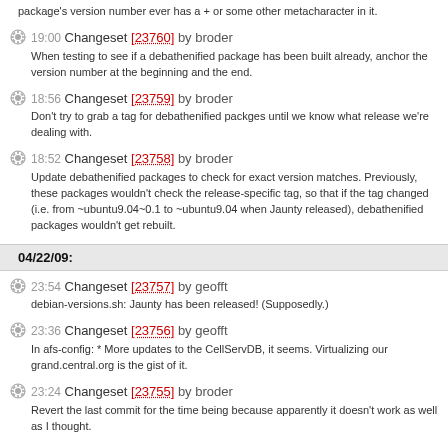package's version number ever has a + or some other metacharacter in it.
19:00 Changeset [23760] by broder — When testing to see if a debathenified package has been built already, anchor the version number at the beginning and the end.
18:56 Changeset [23759] by broder — Don't try to grab a tag for debathenified packges until we know what release we're dealing with.
18:52 Changeset [23758] by broder — Update debathenified packages to check for exact version matches. Previously, these packages wouldn't check the release-specific tag, so that if the tag changed (i.e. from ~ubuntu9.04~0.1 to ~ubuntu9.04 when Jaunty released), debathenified packages wouldn't get rebuilt.
04/22/09:
23:54 Changeset [23757] by geofft — debian-versions.sh: Jaunty has been released! (Supposedly.)
23:36 Changeset [23756] by geofft — In afs-config: * More updates to the CellServDB, it seems. Virtualizing our grand.central.org is the gist of it.
23:24 Changeset [23755] by broder — Revert the last commit for the time being because apparently it doesn't work as well as I thought.